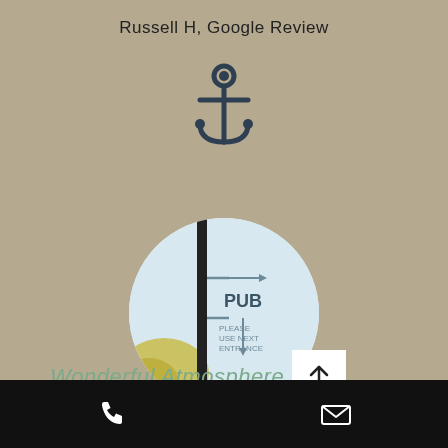Russell H, Google Review
[Figure (illustration): Anchor icon in dark navy/slate color]
[Figure (photo): Circular cropped photo showing a pub sign on a post with text PUB PLEASE USE NEXT ENTRANCE, sky and foliage visible]
Wonderful Atmosphere
This is our favourite pub in Guildford -
[Figure (infographic): Black bottom bar with white phone icon on left and white envelope/email icon on right]